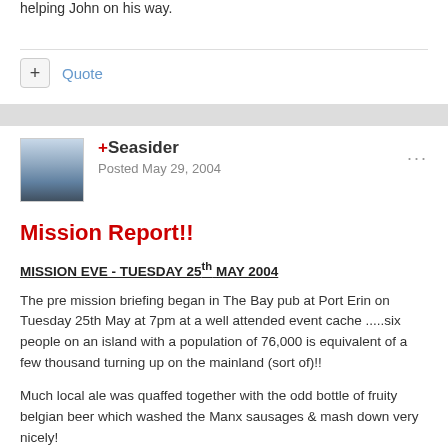helping John on his way.
Quote
+Seasider
Posted May 29, 2004
Mission Report!!
MISSION EVE - TUESDAY 25th MAY 2004
The pre mission briefing began in The Bay pub at Port Erin on Tuesday 25th May at 7pm at a well attended event cache .....six people on an island with a population of 76,000 is equivalent of a few thousand turning up on the mainland (sort of)!!
Much local ale was quaffed together with the odd bottle of fruity belgian beer which washed the Manx sausages & mash down very nicely!